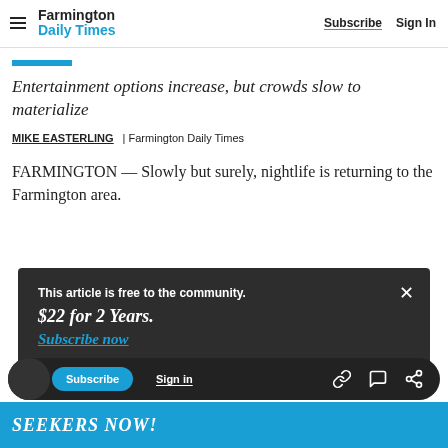Farmington Daily Times | Subscribe  Sign In
Entertainment options increase, but crowds slow to materialize
MIKE EASTERLING  | Farmington Daily Times
FARMINGTON — Slowly but surely, nightlife is returning to the Farmington area.
This article is free to the community.
$22 for 2 Years.
Subscribe now